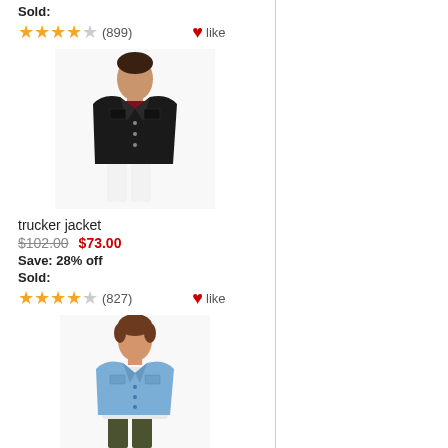Sold:
★★★★☆ (899)  ♥ like
[Figure (photo): Man wearing a black denim trucker jacket over a dark red shirt with white pants]
trucker jacket
$102.00  $73.00
Save: 28% off
Sold:
★★★★☆ (827)  ♥ like
[Figure (photo): Young man wearing a light blue denim trucker jacket over a white hoodie with dark pants]